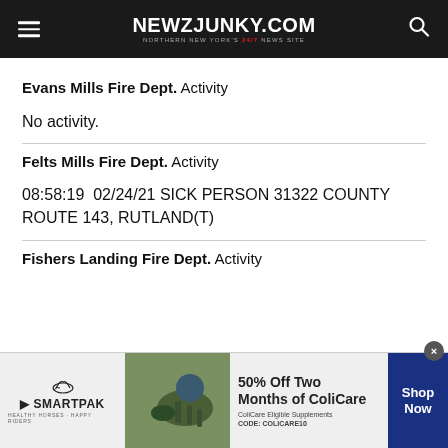NEWZJUNKY.COM — NORTHERN NEW YORK'S 24/7 NEWS SITE
Evans Mills Fire Dept. Activity
No activity.
Felts Mills Fire Dept. Activity
08:58:19  02/24/21 SICK PERSON 31322 COUNTY ROUTE 143, RUTLAND(T)
Fishers Landing Fire Dept. Activity
[Figure (other): SmartPak advertisement banner: 50% Off Two Months of ColiCare, ColiCare Eligible Supplements, CODE: COLICARE10, Shop Now button]